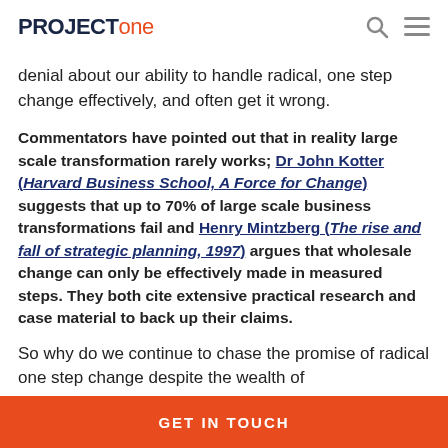PROJECT one
denial about our ability to handle radical, one step change effectively, and often get it wrong.
Commentators have pointed out that in reality large scale transformation rarely works; Dr John Kotter (Harvard Business School, A Force for Change) suggests that up to 70% of large scale business transformations fail and Henry Mintzberg (The rise and fall of strategic planning, 1997) argues that wholesale change can only be effectively made in measured steps. They both cite extensive practical research and case material to back up their claims.
So why do we continue to chase the promise of radical one step change despite the wealth of
GET IN TOUCH